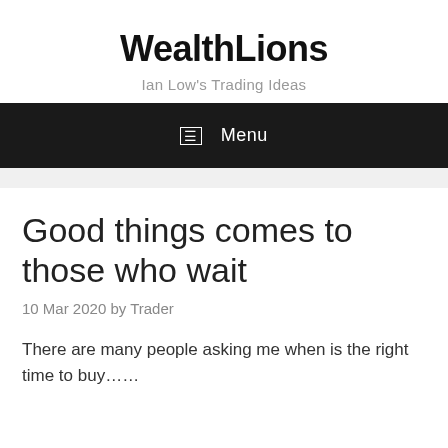WealthLions
Ian Low's Trading Ideas
☰  Menu
Good things comes to those who wait
10 Mar 2020 by Trader
There are many people asking me when is the right time to buy……